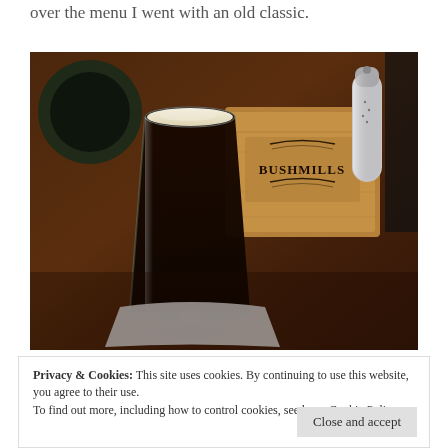over the menu I went with an old classic.
[Figure (photo): A photo of an Irish coffee in a tall glass with cream on top, on a bar counter next to a Bushmills wooden branded box and a salt/pepper shaker. The bar surface is dark wood.]
Privacy & Cookies: This site uses cookies. By continuing to use this website, you agree to their use.
To find out more, including how to control cookies, see here: Cookie Policy
Close and accept